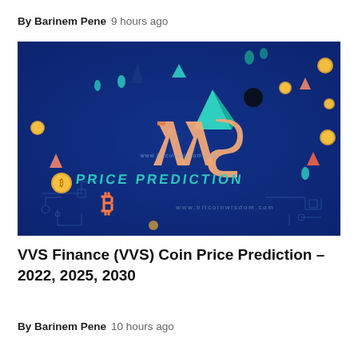By Barinem Pene   9 hours ago
[Figure (illustration): Promotional banner image for VVS Finance coin price prediction article. Dark blue background with 3D isometric text reading 'VVS' in orange/salmon and 'PRICE PREDICTION' in teal/mint green. Features floating cryptocurrency coins, geometric shapes (triangles, spheres), and a Bitcoin logo at the bottom. URL www.bitcoinwisdom.com is visible in the center.]
VVS Finance (VVS) Coin Price Prediction – 2022, 2025, 2030
By Barinem Pene   10 hours ago